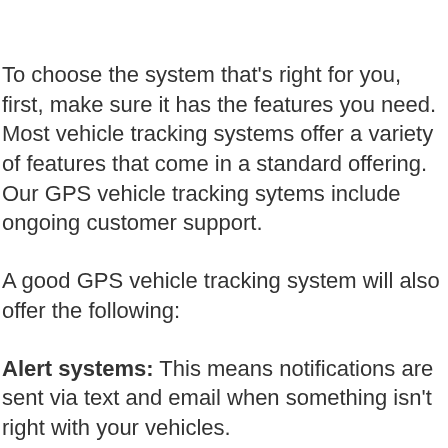To choose the system that’s right for you, first, make sure it has the features you need. Most vehicle tracking systems offer a variety of features that come in a standard offering. Our GPS vehicle tracking sytems include ongoing customer support.
A good GPS vehicle tracking system will also offer the following:
Alert systems: This means notifications are sent via text and email when something isn’t right with your vehicles.